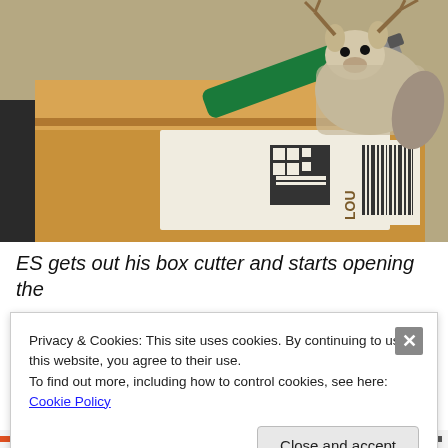[Figure (photo): Photo of a cardboard shipping box with a shipping label (barcode and QR code visible), a green box cutter tool on top, and a knitted/crocheted stuffed animal (reindeer or deer) sitting on the box. The scene is on a dark surface.]
ES gets out his box cutter and starts opening the
Privacy & Cookies: This site uses cookies. By continuing to use this website, you agree to their use.
To find out more, including how to control cookies, see here: Cookie Policy
Close and accept